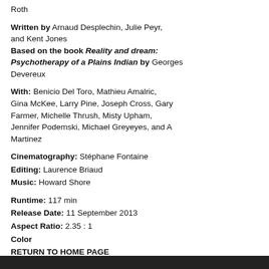Roth
Written by Arnaud Desplechin, Julie Peyr, and Kent Jones
Based on the book Reality and dream: Psychotherapy of a Plains Indian by Georges Devereux
With: Benicio Del Toro, Mathieu Amalric, Gina McKee, Larry Pine, Joseph Cross, Gary Farmer, Michelle Thrush, Misty Upham, Jennifer Podemski, Michael Greyeyes, and A Martinez
Cinematography: Stéphane Fontaine
Editing: Laurence Briaud
Music: Howard Shore
Runtime: 117 min
Release Date: 11 September 2013
Aspect Ratio: 2.35 : 1
Color
RETURN TO HOME PAGE